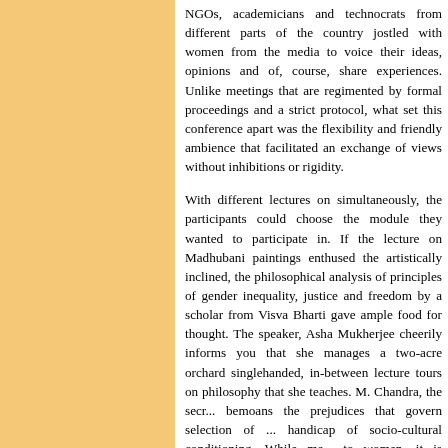NGOs, academicians and technocrats from different parts of the country jostled with women from the media to voice their ideas, opinions and of, course, share experiences. Unlike meetings that are regimented by formal proceedings and a strict protocol, what set this conference apart was the flexibility and friendly ambience that facilitated an exchange of views without inhibitions or rigidity.
With different lectures on simultaneously, the participants could choose the module they wanted to participate in. If the lecture on Madhubani paintings enthused the artistically inclined, the philosophical analysis of principles of gender inequality, justice and freedom by a scholar from Visva Bharti gave ample food for thought. The speaker, Asha Mukherjee cheerily informs you that she manages a two-acre orchard singlehanded, in-between lecture tours on philosophy that she teaches. M. Chandra, the secr... bemoans the prejudices that govern selection of ... handicap of socio-cultural conditioning. While me... to women, it is women who are quizzed about v... forceful presentation she made a strong case for r... Narayan's dance recital was appreciated by a respo... was talked about in the conference, Shovana expl... 10 pm for a meeting early next morning to perform